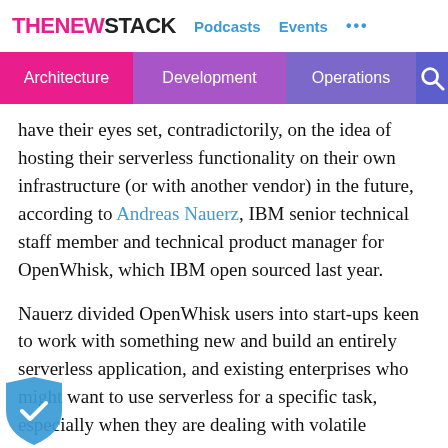THENEWSTACK  Podcasts  Events  ...
Architecture  Development  Operations
have their eyes set, contradictorily, on the idea of hosting their serverless functionality on their own infrastructure (or with another vendor) in the future, according to Andreas Nauerz, IBM senior technical staff member and technical product manager for OpenWhisk, which IBM open sourced last year.
Nauerz divided OpenWhisk users into start-ups keen to work with something new and build an entirely serverless application, and existing enterprises who might want to use serverless for a specific task, especially when they are dealing with volatile